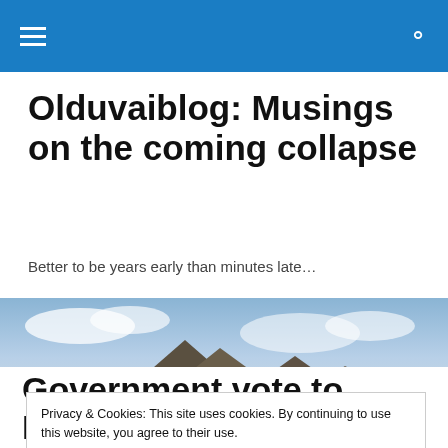Olduvaiblog navigation header with hamburger menu and search icon
Olduvaiblog: Musings on the coming collapse
Better to be years early than minutes late…
[Figure (photo): Panoramic desert landscape with rocky hills, scrubby vegetation, and a partly cloudy sky]
Privacy & Cookies: This site uses cookies. By continuing to use this website, you agree to their use.
To find out more, including how to control cookies, see here: Cookie Policy
Close and accept
Government vote to Remove